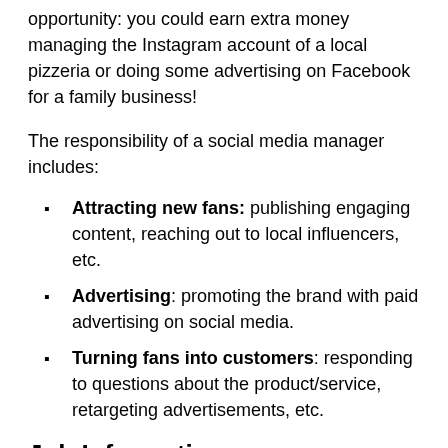opportunity: you could earn extra money managing the Instagram account of a local pizzeria or doing some advertising on Facebook for a family business!
The responsibility of a social media manager includes:
Attracting new fans: publishing engaging content, reaching out to local influencers, etc.
Advertising: promoting the brand with paid advertising on social media.
Turning fans into customers: responding to questions about the product/service, retargeting advertisements, etc.
Job Information